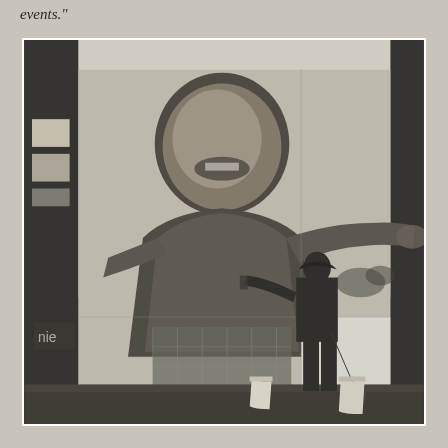events."
[Figure (photo): Black and white photograph of a person standing in front of a large outdoor mural being installed on a building wall. The mural depicts a large smiling boy with outstretched arms. The person in the foreground is holding a mop or brush and there are two white buckets on the ground. The building behind has industrial windows visible on the left side.]